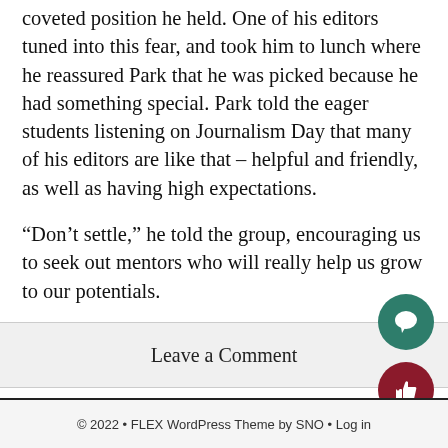coveted position he held. One of his editors tuned into this fear, and took him to lunch where he reassured Park that he was picked because he had something special. Park told the eager students listening on Journalism Day that many of his editors are like that – helpful and friendly, as well as having high expectations.
“Don’t settle,” he told the group, encouraging us to seek out mentors who will really help us grow to our potentials.
Leave a Comment
© 2022 • FLEX WordPress Theme by SNO • Log in